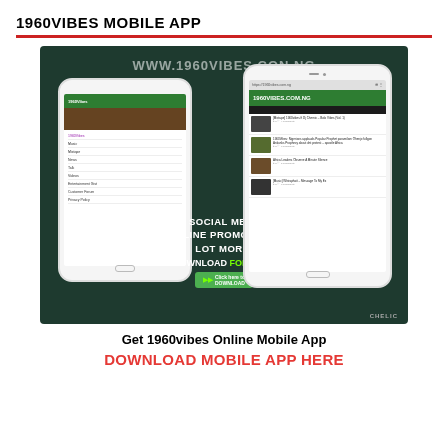1960VIBES MOBILE APP
[Figure (screenshot): Smartphone mockup showing the 1960VIBES.COM.NG mobile website on two white phones against a dark green background, with text: BLOG, SOCIAL MEDIA HYPE ONLINE PROMOTIONS LOT MORE. DOWNLOAD FOR FREE]
Get 1960vibes Online Mobile App
DOWNLOAD MOBILE APP HERE